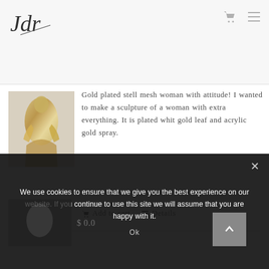Logo and navigation icons
[Figure (photo): Gold plated steel mesh woman sculpture with gold leaf and acrylic gold spray finish]
Gold plated stell mesh woman with attitude! I wanted to make a sculpture of a woman with extra everything. It is plated whit gold leaf and acrylic gold spray.
Add to cart   Details
We use cookies to ensure that we give you the best experience on our website. If you continue to use this site we will assume that you are happy with it.
Ok